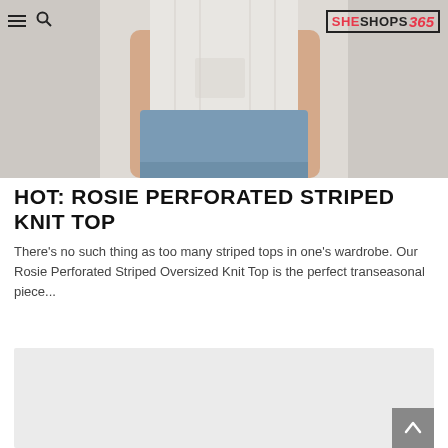SHESHOPS365
[Figure (photo): Partial view of a woman wearing denim cutoff shorts and a light-colored top, cropped at torso level against a light background.]
HOT: ROSIE PERFORATED STRIPED KNIT TOP
There's no such thing as too many striped tops in one's wardrobe. Our Rosie Perforated Striped Oversized Knit Top is the perfect transeasonal piece...
[Figure (other): Gray placeholder/advertisement box at the bottom of the page.]